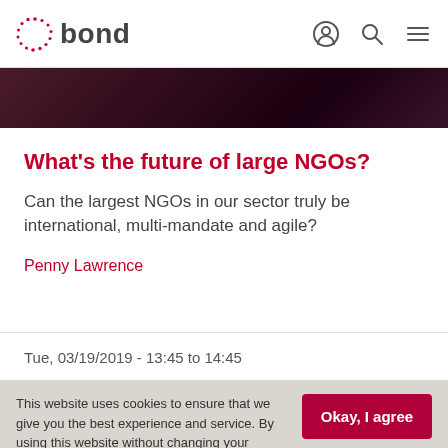bond
[Figure (photo): Dark reddish-purple abstract background strip — hero image]
What's the future of large NGOs?
Can the largest NGOs in our sector truly be international, multi-mandate and agile?
Penny Lawrence
Tue, 03/19/2019 - 13:45 to 14:45
This website uses cookies to ensure that we give you the best experience and service. By using this website without changing your settings, you consent to our use of cookies, as set out in our privacy policy.